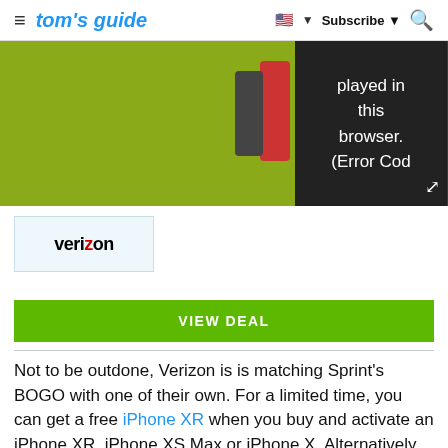≡ tom's guide  🇺🇸 ▼  Subscribe ▼  🔍
[Figure (screenshot): Video player showing error message: 'played in this browser. (Error Cod' on a dark background with yellow/green thumbnail area]
[Figure (logo): Verizon logo on light blue background]
VIEW DEAL
Not to be outdone, Verizon is is matching Sprint's BOGO with one of their own. For a limited time, you can get a free iPhone XR when you buy and activate an iPhone XR, iPhone XS Max or iPhone X. Alternatively, you can take $750 off the purchase of a second iPhone X model. A new line of service is